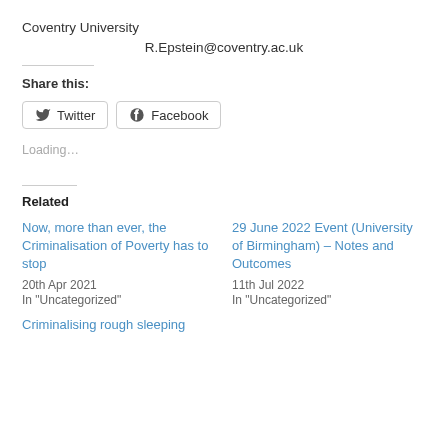Coventry University
R.Epstein@coventry.ac.uk
Share this:
Twitter  Facebook
Loading…
Related
Now, more than ever, the Criminalisation of Poverty has to stop
20th Apr 2021
In "Uncategorized"
29 June 2022 Event (University of Birmingham) – Notes and Outcomes
11th Jul 2022
In "Uncategorized"
Criminalising rough sleeping